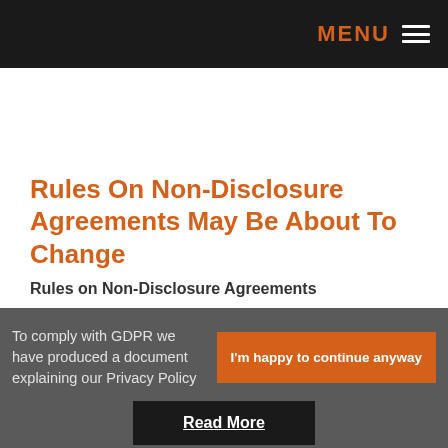MENU
Rules On Non-Disclosure Agreements May Be About To Change
Rules on Non-Disclosure Agreements
To comply with GDPR we have produced a document explaining our Privacy Policy
I'm happy to continue anyway
Read More